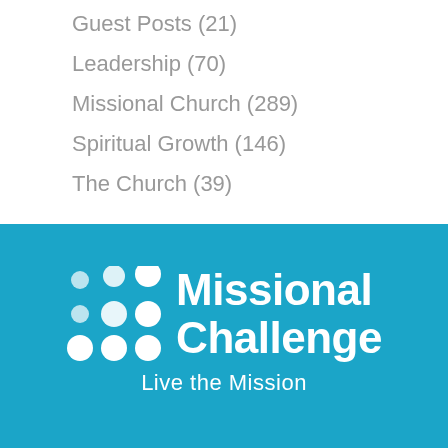Guest Posts (21)
Leadership (70)
Missional Church (289)
Spiritual Growth (146)
The Church (39)
[Figure (logo): Missional Challenge logo with dots grid icon, text 'Missional Challenge' and tagline 'Live the Mission' on teal background]